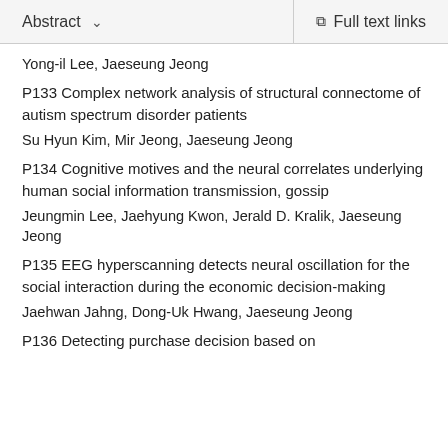Abstract   ∨   Full text links
Yong-il Lee, Jaeseung Jeong
P133 Complex network analysis of structural connectome of autism spectrum disorder patients
Su Hyun Kim, Mir Jeong, Jaeseung Jeong
P134 Cognitive motives and the neural correlates underlying human social information transmission, gossip
Jeungmin Lee, Jaehyung Kwon, Jerald D. Kralik, Jaeseung Jeong
P135 EEG hyperscanning detects neural oscillation for the social interaction during the economic decision-making
Jaehwan Jahng, Dong-Uk Hwang, Jaeseung Jeong
P136 Detecting purchase decision based on